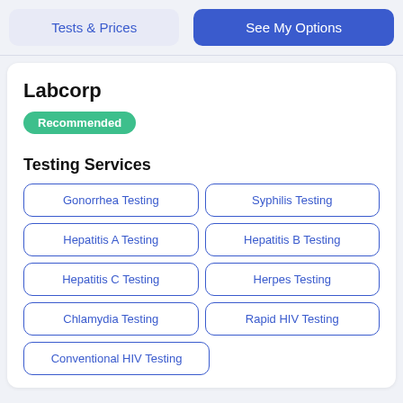Tests & Prices
See My Options
Labcorp
Recommended
Testing Services
Gonorrhea Testing
Syphilis Testing
Hepatitis A Testing
Hepatitis B Testing
Hepatitis C Testing
Herpes Testing
Chlamydia Testing
Rapid HIV Testing
Conventional HIV Testing